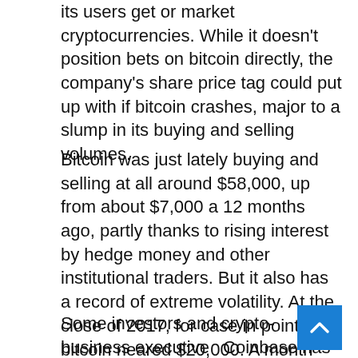its users get or market cryptocurrencies. While it doesn't position bets on bitcoin directly, the company's share price tag could put up with if bitcoin crashes, major to a slump in its buying and selling volumes.
Bitcoin was just lately buying and selling at all around $58,000, up from about $7,000 a 12 months ago, partly thanks to rising interest by hedge money and other institutional traders. But it also has a record of extreme volatility. At the close of 2017, for case in point, bitcoin neared $20,000. A month afterwards, it had crashed to around 50 % that price.
Some investors and crypto-business executives Coinbase has another main vulnerability: its dependence on transaction charges, which are